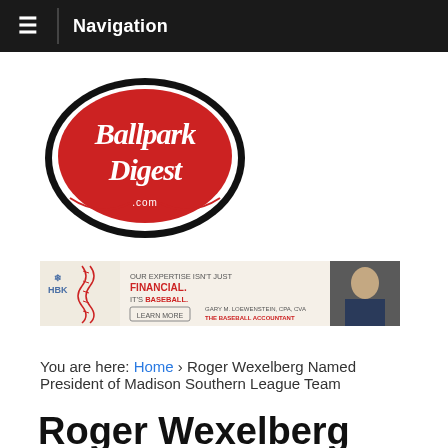Navigation
[Figure (logo): Ballpark Digest .com logo — red oval with white script text on dark outline, resembling a baseball shape]
[Figure (photo): HBK advertisement banner: 'OUR EXPERTISE ISN'T JUST FINANCIAL. IT'S BASEBALL.' with LEARN MORE button, Gary M. Loewenstein CPA, CVA The Baseball Accountant, and photo of man in suit]
You are here: Home › Roger Wexelberg Named President of Madison Southern League Team
Roger Wexelberg Named President of Madison Southern